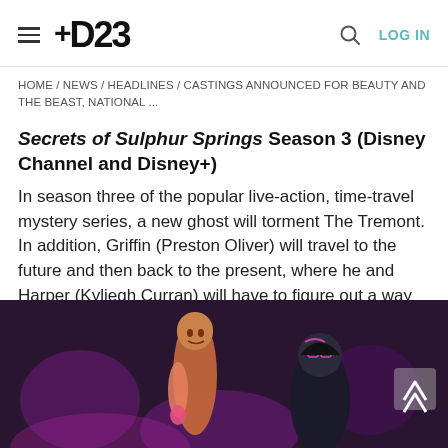D23  |  LOG IN
HOME / NEWS / HEADLINES / CASTINGS ANNOUNCED FOR BEAUTY AND THE BEAST, NATIONAL ...
Secrets of Sulphur Springs Season 3 (Disney Channel and Disney+)
In season three of the popular live-action, time-travel mystery series, a new ghost will torment The Tremont. In addition, Griffin (Preston Oliver) will travel to the future and then back to the present, where he and Harper (Kyliegh Curran) will have to figure out a way to change the timelines of their lives in order to save both their friendship and their families.
[Figure (photo): Animated characters from a Disney animated show on a purple/dark stage background, one character is elongated/worm-like with pink glow, another is a dark figure with glasses]